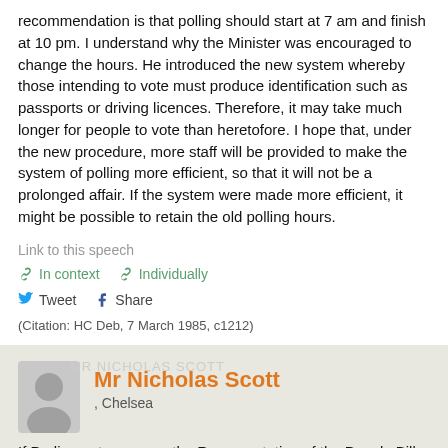recommendation is that polling should start at 7 am and finish at 10 pm. I understand why the Minister was encouraged to change the hours. He introduced the new system whereby those intending to vote must produce identification such as passports or driving licences. Therefore, it may take much longer for people to vote than heretofore. I hope that, under the new procedure, more staff will be provided to make the system of polling more efficient, so that it will not be a prolonged affair. If the system were made more efficient, it might be possible to retain the old polling hours.
Link to this speech
In context   Individually
Tweet  Share
(Citation: HC Deb, 7 March 1985, c1212)
Mr Nicholas Scott , Chelsea
If Parliament approves the Representation of the People Bill, the hours of 7 am to 10 pm will apply to all elections. The idea of having different times for local elections in Northern Ireland does not have